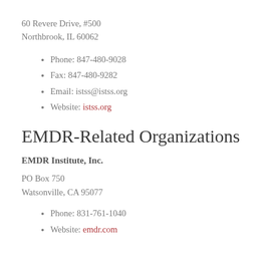60 Revere Drive, #500
Northbrook, IL 60062
Phone: 847-480-9028
Fax: 847-480-9282
Email: istss@istss.org
Website: istss.org
EMDR-Related Organizations
EMDR Institute, Inc.
PO Box 750
Watsonville, CA 95077
Phone: 831-761-1040
Website: emdr.com